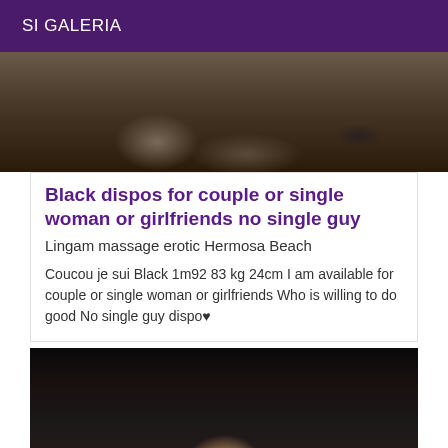SI GALERIA
[Figure (photo): Close-up photo of feet/shoes on ground]
Black dispos for couple or single woman or girlfriends no single guy
Lingam massage erotic Hermosa Beach
Coucou je sui Black 1m92 83 kg 24cm I am available for couple or single woman or girlfriends Who is willing to do good No single guy dispo♥
[Figure (photo): Portrait photo of a woman with dark hair against dark background]